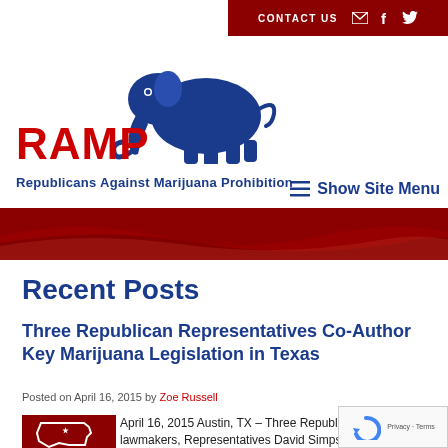CONTACT US
[Figure (logo): RAMP - Republicans Against Marijuana Prohibition logo with blue elephant]
Show Site Menu
[Figure (illustration): Red wave/banner decorative graphic]
Recent Posts
Three Republican Representatives Co-Author Key Marijuana Legislation in Texas
Posted on April 16, 2015 by Zoe Russell
[Figure (illustration): Texas state outline graphic with red background and white star]
April 16, 2015 Austin, TX – Three Republican lawmakers, Representatives David Simpson (R-